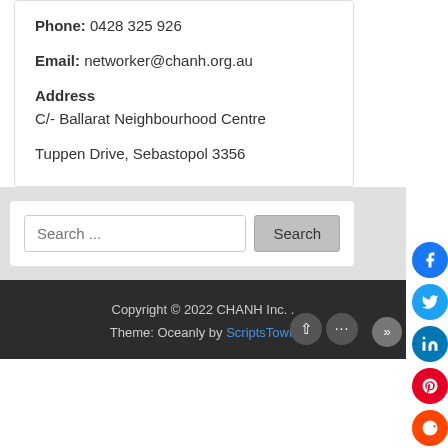Phone: 0428 325 926
Email: networker@chanh.org.au
Address
C/- Ballarat Neighbourhood Centre
Tuppen Drive, Sebastopol 3356
Search ...
Copyright © 2022 CHANH Inc. . Theme: Oceanly by ScriptsTown